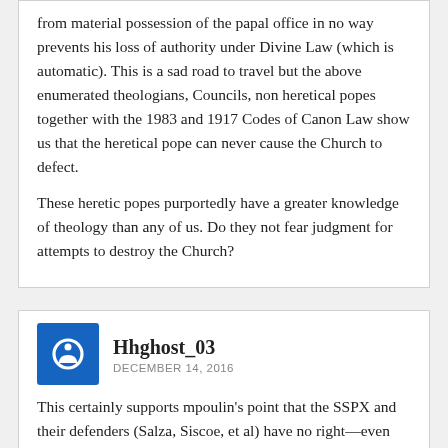from material possession of the papal office in no way prevents his loss of authority under Divine Law (which is automatic). This is a sad road to travel but the above enumerated theologians, Councils, non heretical popes together with the 1983 and 1917 Codes of Canon Law show us that the heretical pope can never cause the Church to defect.
These heretic popes purportedly have a greater knowledge of theology than any of us. Do they not fear judgment for attempts to destroy the Church?
Hhghost_03
DECEMBER 14, 2016
This certainly supports mpoulin's point that the SSPX and their defenders (Salza, Siscoe, et al) have no right—even under the Vatican II Constitution—to sift and discard teachings of the Magisterium they don't like.